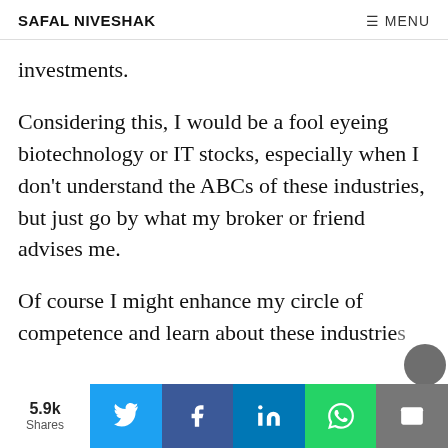SAFAL NIVESHAK | ☰ MENU
investments.
Considering this, I would be a fool eyeing biotechnology or IT stocks, especially when I don't understand the ABCs of these industries, but just go by what my broker or friend advises me.
Of course I might enhance my circle of competence and learn about these industries
5.9k Shares | Twitter | Facebook | LinkedIn | WhatsApp | Email